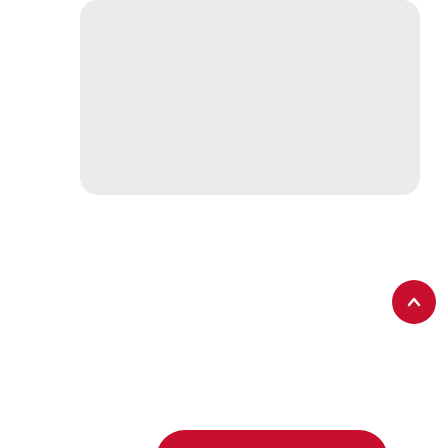[Figure (screenshot): A light grey rounded rectangle representing a textarea/message input box]
SEND MESSAGE
This website uses cookies to improve your experience. We'll assume you're ok with this, but you can opt-out if you wish.
Accept
Read More